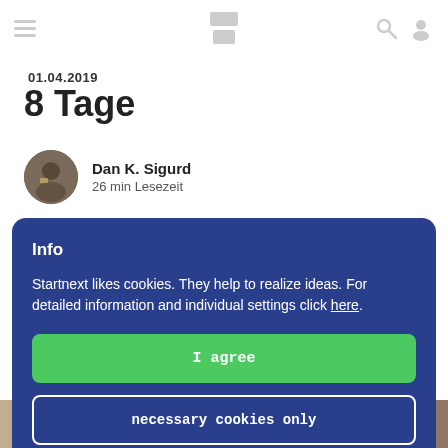Navigation header with hamburger menu, logo blocks, search icon, user icon
01.04.2019
8 Tage
Dan K. Sigurd
26 min Lesezeit
Info
Startnext likes cookies. They help to realize ideas. For detailed information and individual settings click here.
I agree
necessary cookies only
[Figure (photo): Bottom strip showing people in a group activity scene]